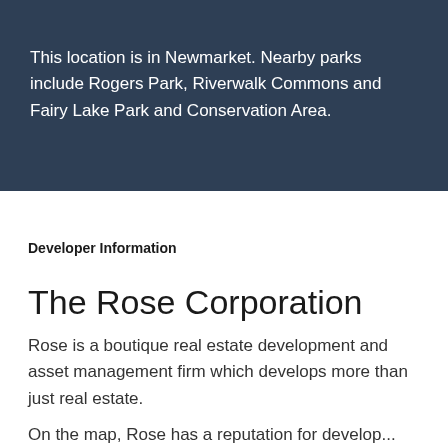This location is in Newmarket. Nearby parks include Rogers Park, Riverwalk Commons and Fairy Lake Park and Conservation Area.
Developer Information
The Rose Corporation
Rose is a boutique real estate development and asset management firm which develops more than just real estate.
On the map, Rose has a reputation for developing...